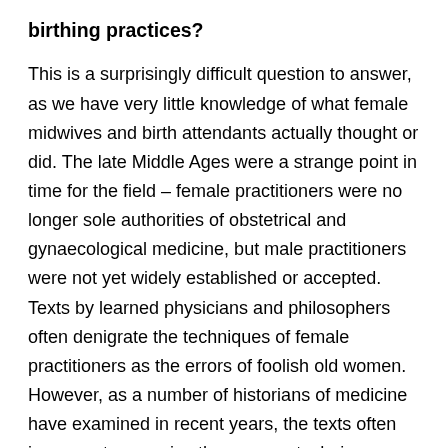birthing practices?
This is a surprisingly difficult question to answer, as we have very little knowledge of what female midwives and birth attendants actually thought or did. The late Middle Ages were a strange point in time for the field – female practitioners were no longer sole authorities of obstetrical and gynaecological medicine, but male practitioners were not yet widely established or accepted. Texts by learned physicians and philosophers often denigrate the techniques of female practitioners as the errors of foolish old women. However, as a number of historians of medicine have examined in recent years, the texts often incorporate or praise those same techniques, or at least admit that the experiential knowledge gained by female practitioners was